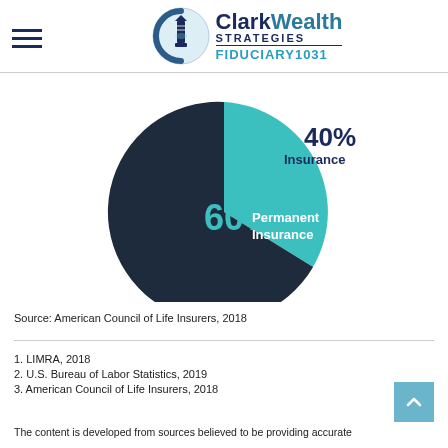Clark Wealth Strategies FIDUCIARY1031
[Figure (pie-chart): Life Insurance Types]
Source: American Council of Life Insurers, 2018
1. LIMRA, 2018
2. U.S. Bureau of Labor Statistics, 2019
3. American Council of Life Insurers, 2018
The content is developed from sources believed to be providing accurate